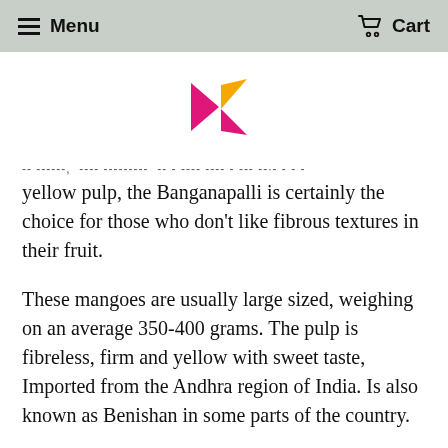Menu   Cart
[Figure (logo): Colorful K-shaped logo in magenta and orange/yellow]
-- ------, ---- -------- -- - ---- ---- - --- --·- - -
yellow pulp, the Banganapalli is certainly the choice for those who don't like fibrous textures in their fruit.
These mangoes are usually large sized, weighing on an average 350-400 grams. The pulp is fibreless, firm and yellow with sweet taste, Imported from the Andhra region of India. Is also known as Benishan in some parts of the country.
The peak season for Banganapalle is between mid-April and mid-June.